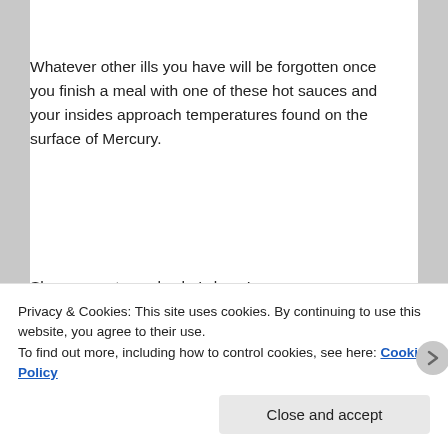Whatever other ills you have will be forgotten once you finish a meal with one of these hot sauces and your insides approach temperatures found on the surface of Mercury.
Show your stomach who’s boss!
And, finally, the pièce de résistance …
Scotch and Doughnuts
[Figure (photo): A dark bottle of hot sauce, showing the top portion with a dark cap and label, photographed against a white background inside a bordered box.]
Privacy & Cookies: This site uses cookies. By continuing to use this website, you agree to their use.
To find out more, including how to control cookies, see here: Cookie Policy
Close and accept